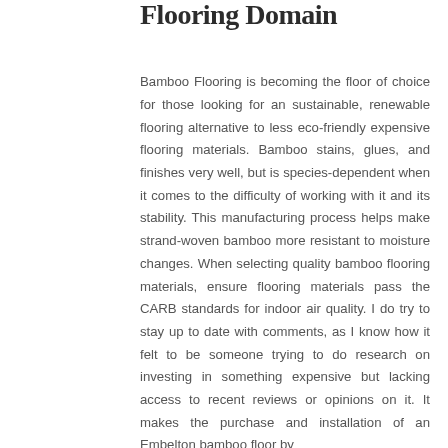Flooring Domain
Bamboo Flooring is becoming the floor of choice for those looking for an sustainable, renewable flooring alternative to less eco-friendly expensive flooring materials. Bamboo stains, glues, and finishes very well, but is species-dependent when it comes to the difficulty of working with it and its stability. This manufacturing process helps make strand-woven bamboo more resistant to moisture changes. When selecting quality bamboo flooring materials, ensure flooring materials pass the CARB standards for indoor air quality. I do try to stay up to date with comments, as I know how it felt to be someone trying to do research on investing in something expensive but lacking access to recent reviews or opinions on it. It makes the purchase and installation of an Embelton bamboo floor by